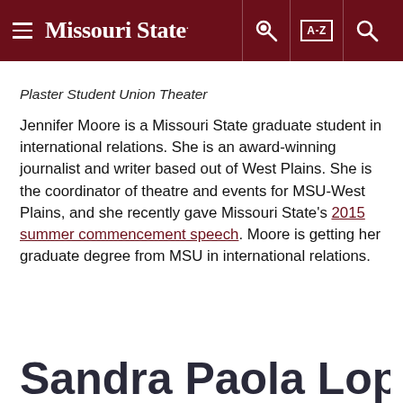Missouri State
Plaster Student Union Theater
Jennifer Moore is a Missouri State graduate student in international relations. She is an award-winning journalist and writer based out of West Plains. She is the coordinator of theatre and events for MSU-West Plains, and she recently gave Missouri State's 2015 summer commencement speech. Moore is getting her graduate degree from MSU in international relations.
Sandra Paola Lopez